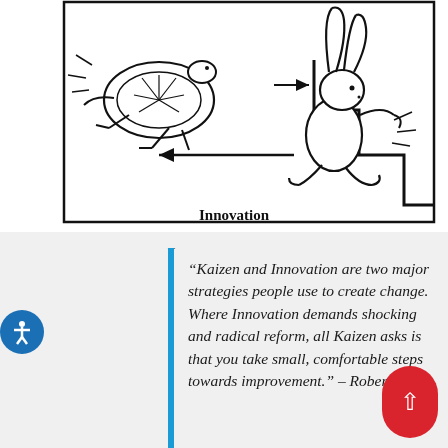[Figure (illustration): Black and white cartoon illustration showing a turtle (representing Kaizen) flying forward with motion lines, and a rabbit (representing Innovation) leaping down a staircase. An arrow points left toward the turtle and another arrow points right toward the rabbit. The word 'Innovation' is labeled below the staircase. The scene is enclosed in a rectangular border.]
“Kaizen and Innovation are two major strategies people use to create change. Where Innovation demands shocking and radical reform, all Kaizen asks is that you take small, comfortable steps towards improvement.” – Robert